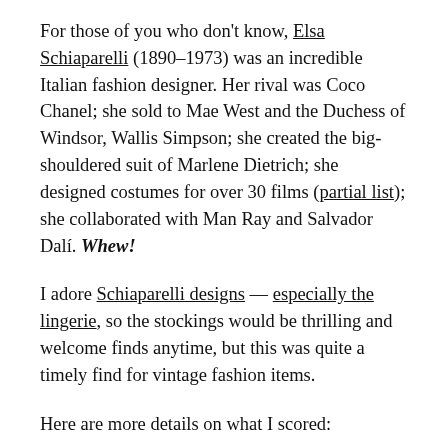For those of you who don't know, Elsa Schiaparelli (1890–1973) was an incredible Italian fashion designer. Her rival was Coco Chanel; she sold to Mae West and the Duchess of Windsor, Wallis Simpson; she created the big-shouldered suit of Marlene Dietrich; she designed costumes for over 30 films (partial list); she collaborated with Man Ray and Salvador Dalí. Whew!
I adore Schiaparelli designs — especially the lingerie, so the stockings would be thrilling and welcome finds anytime, but this was quite a timely find for vintage fashion items.
Here are more details on what I scored:
Supp-hose, sheerest, seamless, nylon & Lycra (Spandex) in Calypso, 905, made in USA. One unworn pair of stockings, with Schiaparelli